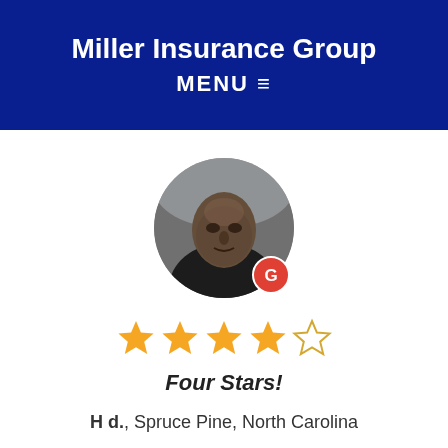Miller Insurance Group
MENU ≡
[Figure (photo): Circular profile photo of a person, with a Google 'G' badge in the bottom-right corner]
[Figure (infographic): 4 out of 5 stars rating displayed as gold star icons]
Four Stars!
H d., Spruce Pine, North Carolina